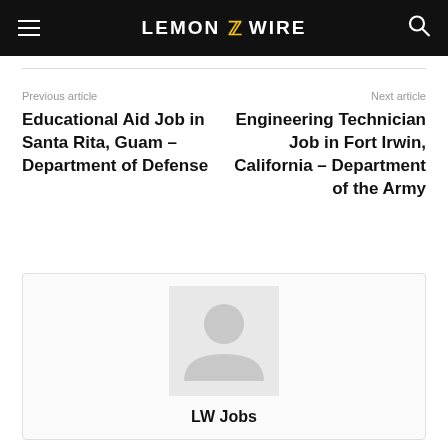LEMON ZZ WIRE
Previous article
Next article
Educational Aid Job in Santa Rita, Guam – Department of Defense
Engineering Technician Job in Fort Irwin, California – Department of the Army
[Figure (illustration): Avatar placeholder image for LW Jobs author]
LW Jobs